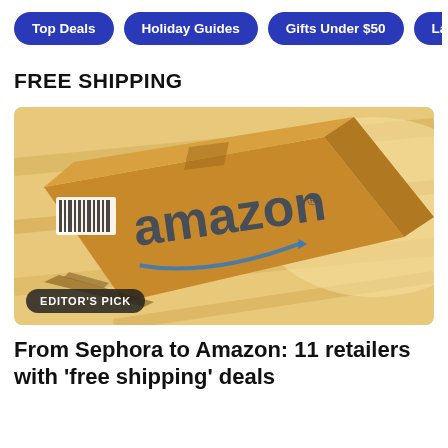Top Deals | Holiday Guides | Gifts Under $50 | Las...
FREE SHIPPING
[Figure (photo): An Amazon branded cardboard shipping box lying on a wooden floor, showing the Amazon logo and smile arrow.]
EDITOR'S PICK
From Sephora to Amazon: 11 retailers with 'free shipping' deals